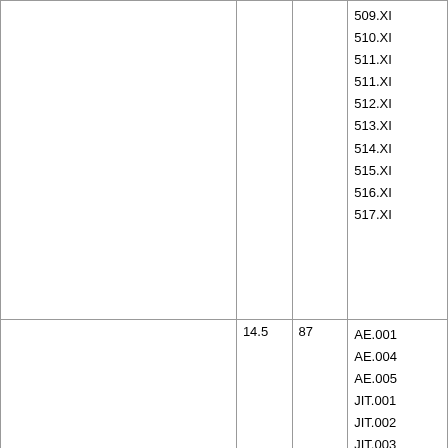|  |  |  |  |
| --- | --- | --- | --- |
|  |  |  | 509.XI
510.XI
511.XI
511.XI
512.XI
513.XI
514.XI
515.XI
516.XI
517.XI |
|  | 14.5 | 87 | AE.001
AE.004
AE.005
JIT.001
JIT.002
JIT.003
JIT.004
JIT.005 |